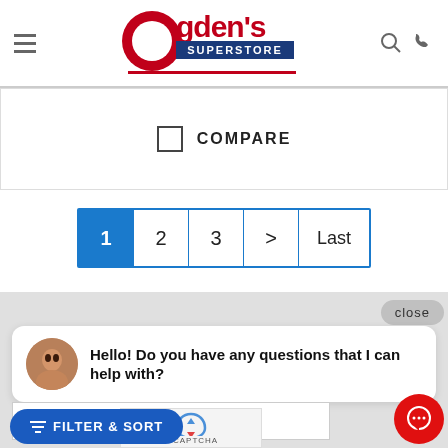[Figure (logo): Ogden's Superstore logo with red circular O, blue SUPERSTORE banner, and tagline 'Complete Home Furnishings']
COMPARE
1  2  3  >  Last
close
Hello! Do you have any questions that I can help with?
Enter your email address
FILTER & SORT
I'm not a robot
reCAPTCHA